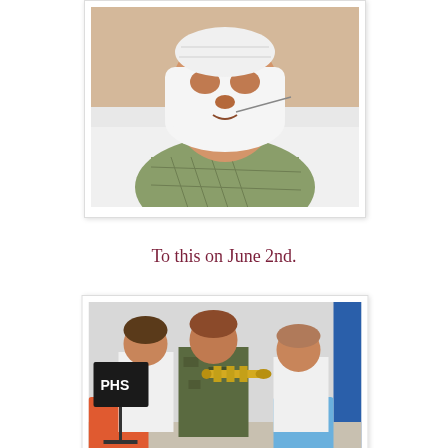[Figure (photo): Child lying in hospital bed with white bandaging/brace wrapped around their jaw and head, wearing a green patterned hospital gown, eyes closed or looking up]
To this on June 2nd.
[Figure (photo): Three boys in what appears to be a school band setting. The center boy, wearing a camouflage hoodie, is playing a trumpet. Another boy on the left in white shirt plays an instrument. A third boy on the right in white shirt stands behind. A music stand with 'PHS' is visible.]